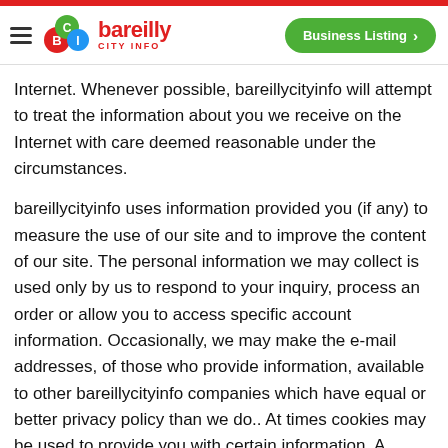bareilly CITY INFO | Business Listing
Internet. Whenever possible, bareillycityinfo will attempt to treat the information about you we receive on the Internet with care deemed reasonable under the circumstances.
bareillycityinfo uses information provided you (if any) to measure the use of our site and to improve the content of our site. The personal information we may collect is used only by us to respond to your inquiry, process an order or allow you to access specific account information. Occasionally, we may make the e-mail addresses, of those who provide information, available to other bareillycityinfo companies which have equal or better privacy policy than we do.. At times cookies may be used to provide you with certain information. A cookie is a tiny element of data that a web site can send to your browser, which may then be stored on your hard drive so we can